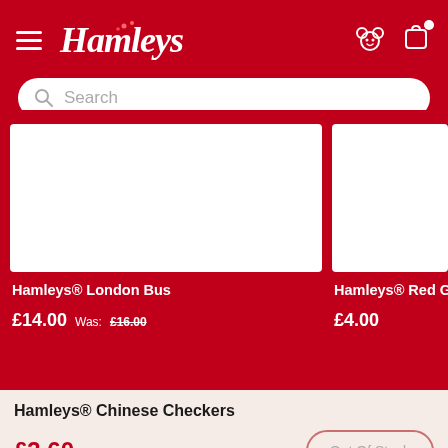[Figure (logo): Hamleys logo in white italic script on red background with hamburger menu and icons]
Search
[Figure (photo): White product image card for Hamleys London Bus]
[Figure (photo): Partial white product image card for Hamleys Red Gli...]
Hamleys® London Bus
Hamleys® Red Gli
£14.00  Was: £16.00
£4.00
Hamleys® Chinese Checkers
£3.60  was: £10.00
Out Of Stock